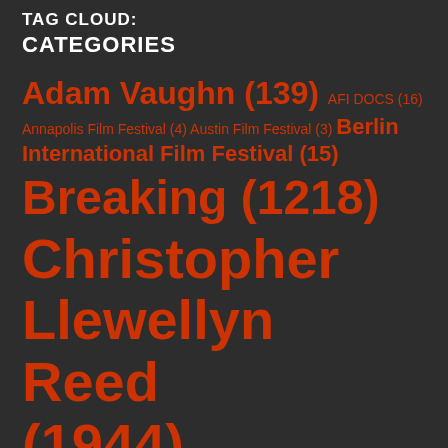TAG CLOUD: CATEGORIES
Adam Vaughn (139) AFI DOCS (16) Annapolis Film Festival (4) Austin Film Festival (3) Berlin International Film Festival (15) Breaking (1218) Christopher Llewellyn Reed (1944) DOC NYC (4) Featured (296) Featured Specialty